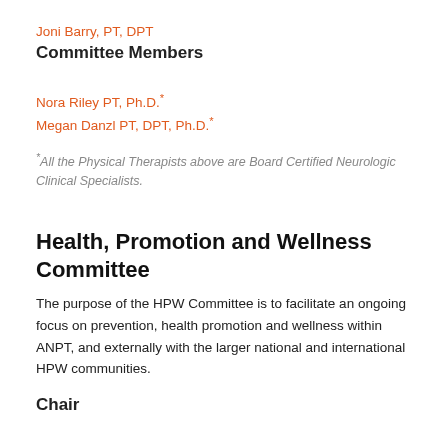Joni Barry, PT, DPT
Committee Members
Nora Riley PT, Ph.D.*
Megan Danzl PT, DPT, Ph.D.*
*All the Physical Therapists above are Board Certified Neurologic Clinical Specialists.
Health, Promotion and Wellness Committee
The purpose of the HPW Committee is to facilitate an ongoing focus on prevention, health promotion and wellness within ANPT, and externally with the larger national and international HPW communities.
Chair